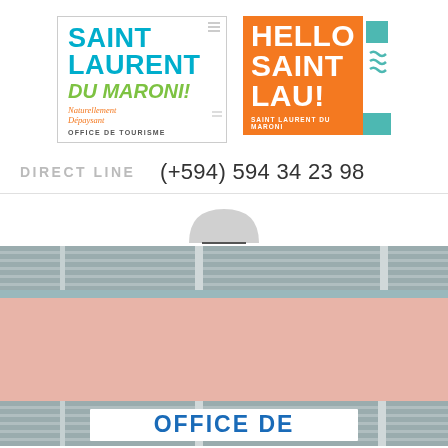[Figure (logo): Saint Laurent du Maroni Office de Tourisme logo with teal text and green italic script, alongside Hello Saint Lau! orange logo with teal wave decoration]
DIRECT LINE    (+594) 594 34 23 98
[Figure (photo): Exterior photo of the Office de Tourisme building in Saint Laurent du Maroni, showing a salmon/peach colored building facade with louvered metal ventilation slats and a white banner reading OFFICE DE]